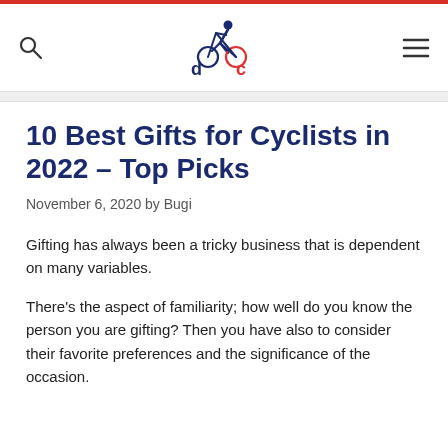DPC cycling blog header with logo, search icon, and menu icon
10 Best Gifts for Cyclists in 2022 – Top Picks
November 6, 2020 by Bugi
Gifting has always been a tricky business that is dependent on many variables.
There’s the aspect of familiarity; how well do you know the person you are gifting? Then you have also to consider their favorite preferences and the significance of the occasion.